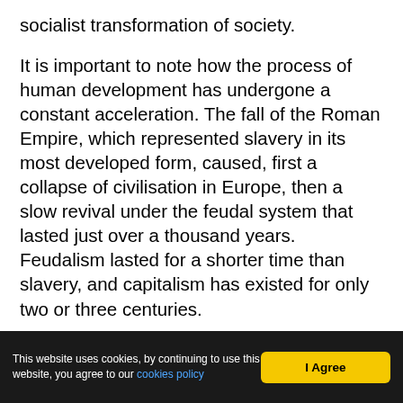socialist transformation of society.
It is important to note how the process of human development has undergone a constant acceleration. The fall of the Roman Empire, which represented slavery in its most developed form, caused, first a collapse of civilisation in Europe, then a slow revival under the feudal system that lasted just over a thousand years. Feudalism lasted for a shorter time than slavery, and capitalism has existed for only two or three centuries.
It must be noted that the pace of development of the productive forces under capitalism has been far more rapid than in any previous society. There
This website uses cookies, by continuing to use this website, you agree to our cookies policy  |  I Agree